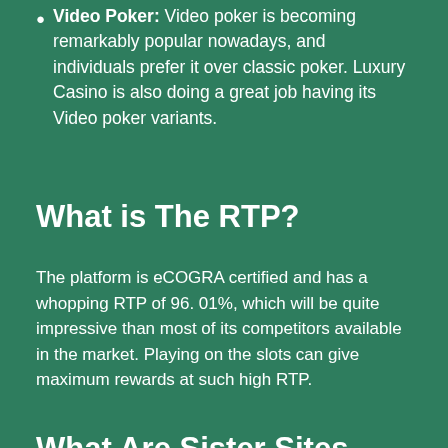Video Poker: Video poker is becoming remarkably popular nowadays, and individuals prefer it over classic poker. Luxury Casino is also doing a great job having its Video poker variants.
What is The RTP?
The platform is eCOGRA certified and has a whopping RTP of 96. 01%, which will be quite impressive than most of its competitors available in the market. Playing on the slots can give maximum rewards at such high RTP.
What Are Sister Sites Available?
Loyalty program